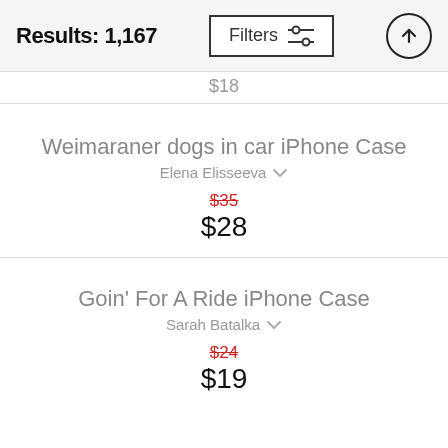Results: 1,167
$18
Weimaraner dogs in car iPhone Case
Elena Elisseeva
$35 $28
Goin' For A Ride iPhone Case
Sarah Batalka
$24 $19